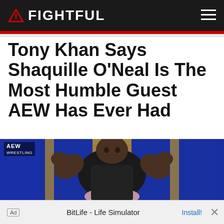FIGHTFUL
Tony Khan Says Shaquille O'Neal Is The Most Humble Guest AEW Has Ever Had
[Figure (photo): Shaquille O'Neal flexing on AEW wrestling show with a woman in front of him, blue stage background with gold pillars, AEW Wrestling logo visible in top-left corner]
Ad  BitLife - Life Simulator  Install!